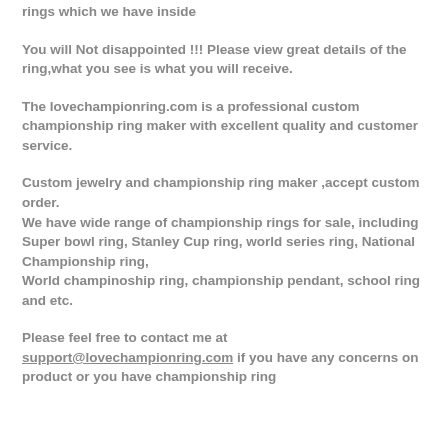rings which we have inside
You will Not disappointed !!! Please view great details of the ring,what you see is what you will receive.
The lovechampionring.com is a professional custom championship ring maker with excellent quality and customer service.
Custom jewelry and championship ring maker ,accept custom order.
We have wide range of championship rings for sale, including Super bowl ring, Stanley Cup ring, world series ring, National Championship ring,
World champinoship ring, championship pendant, school ring and etc.
Please feel free to contact me at support@lovechampionring.com if you have any concerns on product or you have championship ring